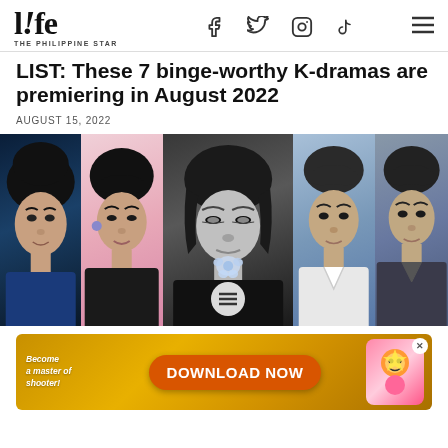life THE PHILIPPINE STAR
LIST: These 7 binge-worthy K-dramas are premiering in August 2022
AUGUST 15, 2022
[Figure (photo): Collage of five K-drama actors in a horizontal strip. From left to right: a young man with dark hair against a blue background; a man with dark hair and earrings against a pink background; a man in black and white holding a crystal flower; a man with short hair in a white shirt against a blue-grey background; a man in a suit against a grey background. A menu icon overlays the center of the image.]
[Figure (photo): Advertisement banner with golden/orange background showing 'Become a master of shooter!' text on the left, a large orange 'DOWNLOAD NOW' button in the center, and a colorful game character on the right. An X close button appears in the top right corner.]